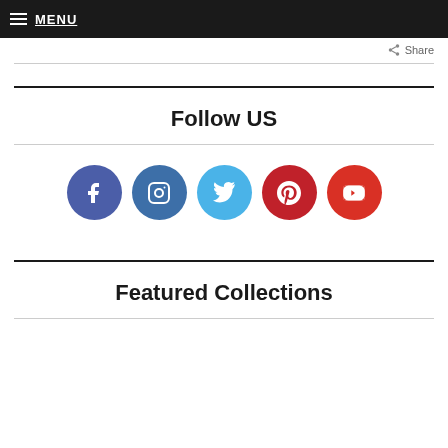MENU
Share
Follow US
[Figure (infographic): Five social media icon circles: Facebook (dark blue), Instagram (dark blue-gray), Twitter (light blue), Pinterest (red), YouTube (red)]
Featured Collections